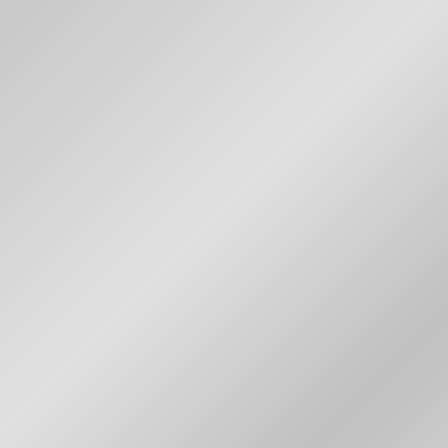[Figure (photo): Left half of page showing a grayscale textured background image, likely a photograph with muted gray tones.]
followed by her husband. S the mother and grandmoth and sobbed.

"Lord God!" said Mother an go for Peer?"

"Let me weep!" said Madam overcome. "I cannot bear it bear it, either!" And her tea

"Have they hissed him off?"

"No, not that!" said Madam live to see it!"

Then both Mother and Gran

"Be calm, Emilie," said Herr triumphed! They clapped so tumbled down! I can still fee applause from the first row family clapped, too. Really, day in the annals of the the